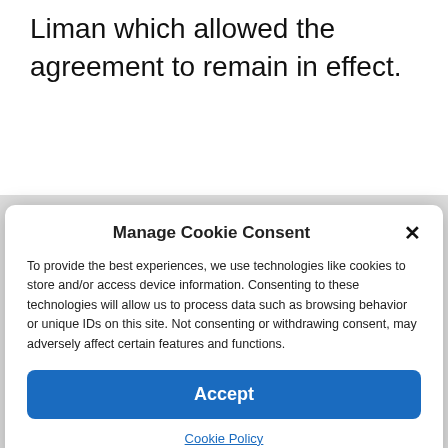Liman which allowed the agreement to remain in effect.
[Figure (screenshot): Cookie consent modal dialog with title 'Manage Cookie Consent', a close (×) button, explanatory text about cookies, an 'Accept' button, and a 'Cookie Policy' link.]
Manage Cookie Consent
To provide the best experiences, we use technologies like cookies to store and/or access device information. Consenting to these technologies will allow us to process data such as browsing behavior or unique IDs on this site. Not consenting or withdrawing consent, may adversely affect certain features and functions.
Accept
Cookie Policy